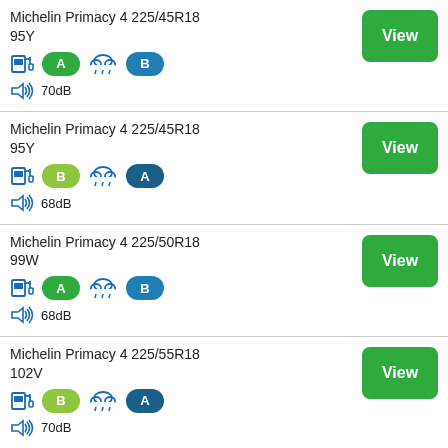Michelin Primacy 4 225/45R18 95Y — Fuel: A, Wet: B, Noise: 70dB
Michelin Primacy 4 225/45R18 95Y — Fuel: B, Wet: A, Noise: 68dB
Michelin Primacy 4 225/50R18 99W — Fuel: A, Wet: B, Noise: 68dB
Michelin Primacy 4 225/55R18 102V — Fuel: B, Wet: A, Noise: 70dB